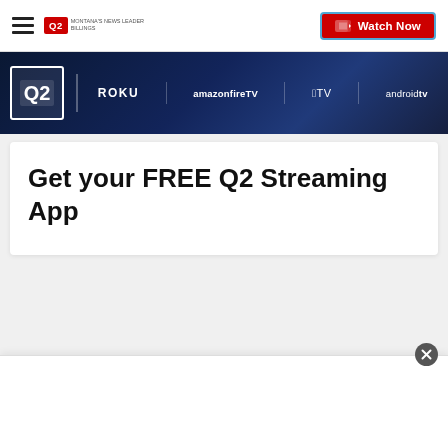Q2 Montana's News Leader Billings — Watch Now
[Figure (screenshot): Q2 streaming banner showing Q2 logo alongside platform logos: Roku, amazon fire TV, Apple TV, androidtv on dark blue gradient background]
Get your FREE Q2 Streaming App
[Figure (screenshot): White bottom overlay bar with close button (X) in upper right corner]